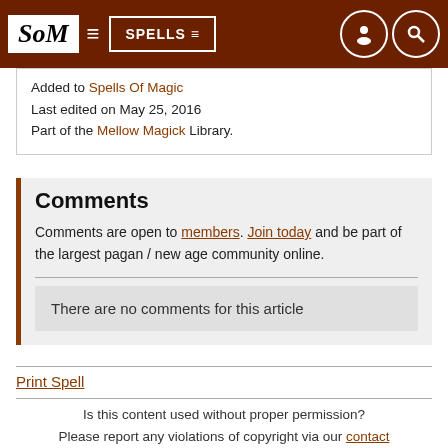SoM | SPELLS
Added to Spells Of Magic
Last edited on May 25, 2016
Part of the Mellow Magick Library.
Comments
Comments are open to members. Join today and be part of the largest pagan / new age community online.
There are no comments for this article
Print Spell
Is this content used without proper permission? Please report any violations of copyright via our contact page.